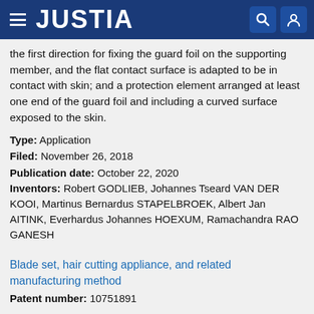JUSTIA
the first direction for fixing the guard foil on the supporting member, and the flat contact surface is adapted to be in contact with skin; and a protection element arranged at least one end of the guard foil and including a curved surface exposed to the skin.
Type: Application
Filed: November 26, 2018
Publication date: October 22, 2020
Inventors: Robert GODLIEB, Johannes Tseard VAN DER KOOI, Martinus Bernardus STAPELBROEK, Albert Jan AITINK, Everhardus Johannes HOEXUM, Ramachandra RAO GANESH
Blade set, hair cutting appliance, and related manufacturing method
Patent number: 10751891